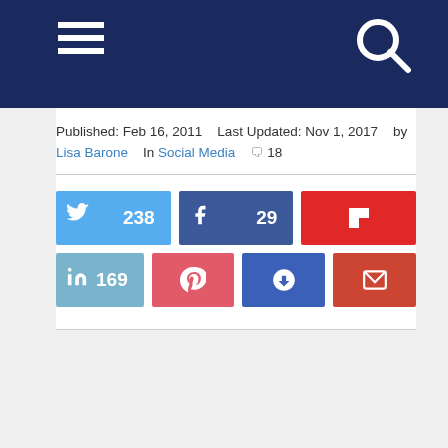Navigation header with hamburger menu and search icon
Published: Feb 16, 2011    Last Updated: Nov 1, 2017    by Lisa Barone    In Social Media    🗨 18
[Figure (screenshot): Social sharing buttons: Twitter (238), Facebook (29), Flipboard, LinkedIn (169), Pinterest, Save, Email]